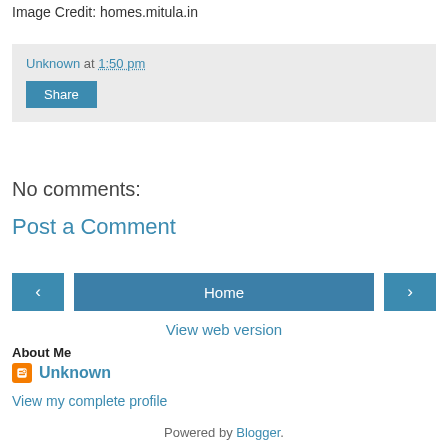Image Credit: homes.mitula.in
Unknown at 1:50 pm
Share
No comments:
Post a Comment
‹
Home
›
View web version
About Me
Unknown
View my complete profile
Powered by Blogger.